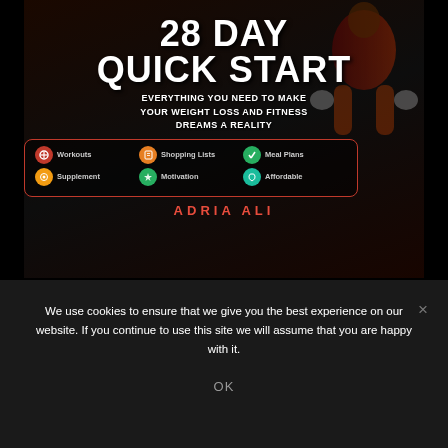[Figure (illustration): Book cover for '28 Day Quick Start' by Adria Ali showing a fitness/weight loss guide with athlete silhouette in background, dark themed cover with features list including Workouts, Shopping Lists, Meal Plans, Supplement, Motivation, Affordable in a bordered box]
We use cookies to ensure that we give you the best experience on our website. If you continue to use this site we will assume that you are happy with it.
OK